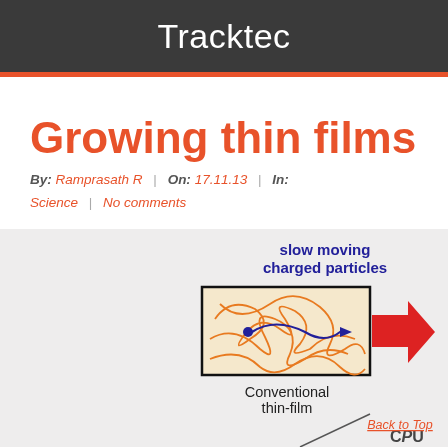Tracktec
Growing thin films
By: Ramprasath R  |  On: 17.11.13  |  In: Science  |  No comments
[Figure (infographic): Diagram showing slow moving charged particles in a box labeled 'Conventional thin-film' with a red arrow pointing right, and a CPU diagram at the bottom.]
Back to Top
CPU